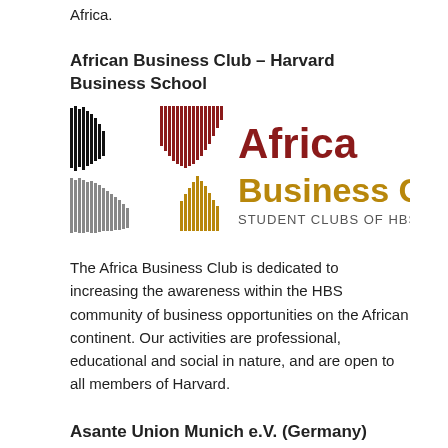Africa.
African Business Club – Harvard Business School
[Figure (logo): Africa Business Club logo with bar chart imagery forming a map of Africa in black, dark red, gray, and gold colors, with text 'Africa Business Club STUDENT CLUBS OF HBS, INC.']
The Africa Business Club is dedicated to increasing the awareness within the HBS community of business opportunities on the African continent. Our activities are professional, educational and social in nature, and are open to all members of Harvard.
Asante Union Munich e.V. (Germany)